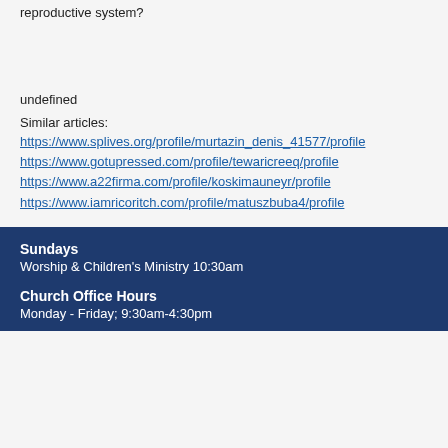reproductive system?
undefined
Similar articles:
https://www.splives.org/profile/murtazin_denis_41577/profile https://www.gotupressed.com/profile/tewaricreeq/profile https://www.a22firma.com/profile/koskimauneyr/profile https://www.iamricoritch.com/profile/matuszbuba4/profile
Sundays
Worship & Children's Ministry 10:30am
Church Office Hours
Monday - Friday; 9:30am-4:30pm